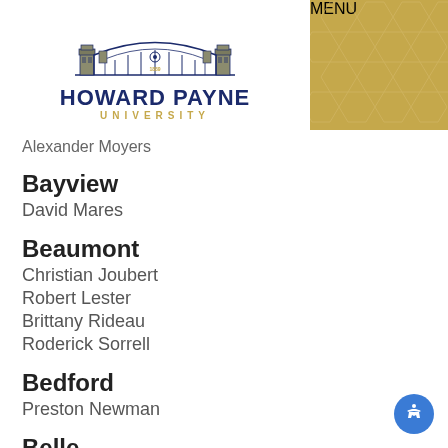[Figure (logo): Howard Payne University logo with campus gate illustration, university name in navy blue, and 'UNIVERSITY' in gold letters]
Alexander Moyers
Bayview
David Mares
Beaumont
Christian Joubert
Robert Lester
Brittany Rideau
Roderick Sorrell
Bedford
Preston Newman
Belle